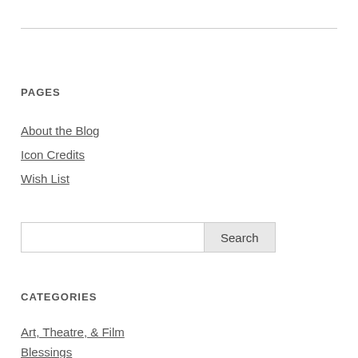PAGES
About the Blog
Icon Credits
Wish List
CATEGORIES
Art, Theatre, & Film
Blessings